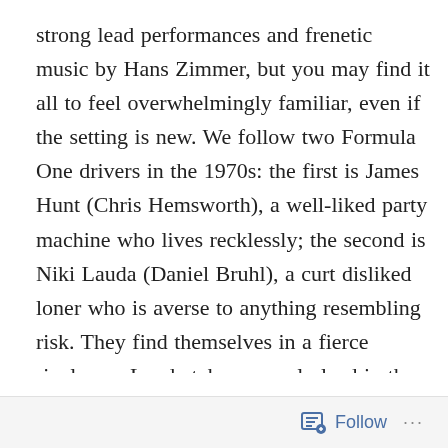strong lead performances and frenetic music by Hans Zimmer, but you may find it all to feel overwhelmingly familiar, even if the setting is new. We follow two Formula One drivers in the 1970s: the first is James Hunt (Chris Hemsworth), a well-liked party machine who lives recklessly; the second is Niki Lauda (Daniel Bruhl), a curt disliked loner who is averse to anything resembling risk. They find themselves in a fierce rivalry, as Lauda takes an early lead in the standings after several races, but Lauda suffers a horrible accident, giving Hunt time to catch up. It all comes down to the final race: who will win? Surprisingly, there’s very little action in Rush: only two real races are shown in the two-hour run time, and while capably shot, they’re far from standout. Following the
Follow ···